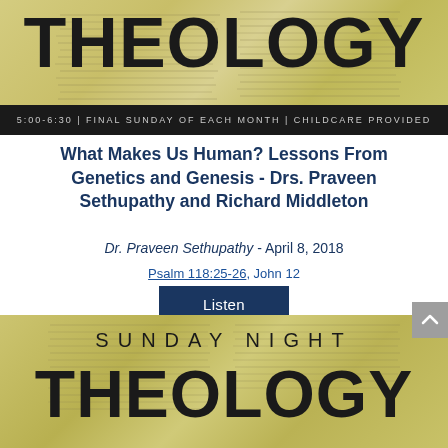[Figure (photo): Top banner showing open Bible pages with pale yellow/green tinted background. Large bold text 'THEOLOGY' overlaid on the image. Black bar below with text '5:00-6:30 | FINAL SUNDAY OF EACH MONTH | CHILDCARE PROVIDED'.]
What Makes Us Human? Lessons From Genetics and Genesis - Drs. Praveen Sethupathy and Richard Middleton
Dr. Praveen Sethupathy - April 8, 2018
Psalm 118:25-26, John 12
Listen
[Figure (photo): Bottom banner showing open Bible pages with pale yellow/green tinted background. Text 'SUNDAY NIGHT' in spaced capital letters and large bold 'THEOLOGY' below it.]